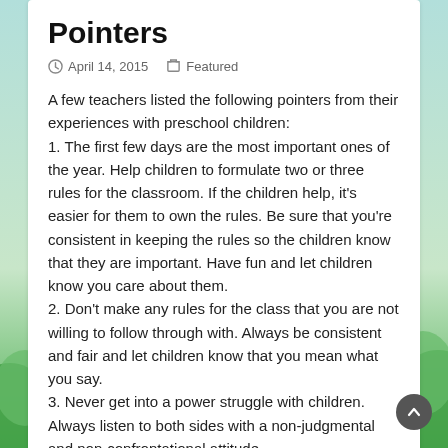Pointers
April 14, 2015   Featured
A few teachers listed the following pointers from their experiences with preschool children:
1. The first few days are the most important ones of the year. Help children to formulate two or three rules for the classroom. If the children help, it's easier for them to own the rules. Be sure that you're consistent in keeping the rules so the children know that they are important. Have fun and let children know you care about them.
2. Don't make any rules for the class that you are not willing to follow through with. Always be consistent and fair and let children know that you mean what you say.
3. Never get into a power struggle with children. Always listen to both sides with a non-judgmental and non-confrontational attitude.
4. You won't damage childrens' thinking by taking the lead and being the boss of your classroom. Once you gain the confidence, things will go more smoothly, and once you